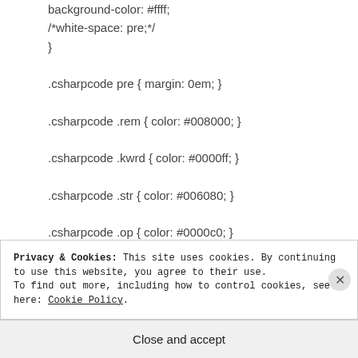background-color: #ffff;
/*white-space: pre;*/
}
.csharpcode pre { margin: 0em; }
.csharpcode .rem { color: #008000; }
.csharpcode .kwrd { color: #0000ff; }
.csharpcode .str { color: #006080; }
.csharpcode .op { color: #0000c0; }
.csharpcode .preproc { color: #cc6633; }
.csharpcode .asp { background-color:
#ffff00; }
Privacy & Cookies: This site uses cookies. By continuing to use this website, you agree to their use.
To find out more, including how to control cookies, see here: Cookie Policy
Close and accept